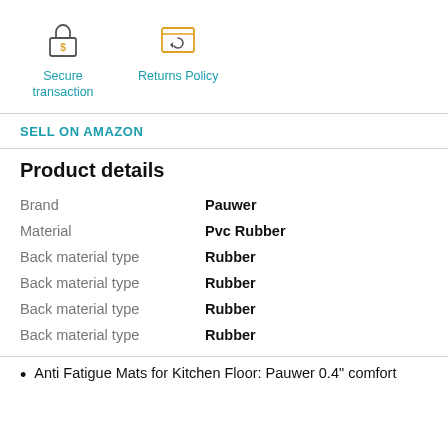[Figure (illustration): Secure transaction icon: padlock with dollar sign, teal/orange outline]
[Figure (illustration): Returns Policy icon: browser window with circular arrow, orange outline]
Secure transaction
Returns Policy
SELL ON AMAZON
Product details
| Attribute | Value |
| --- | --- |
| Brand | Pauwer |
| Material | Pvc Rubber |
| Back material type | Rubber |
| Back material type | Rubber |
| Back material type | Rubber |
| Back material type | Rubber |
Anti Fatigue Mats for Kitchen Floor: Pauwer 0.4" comfort